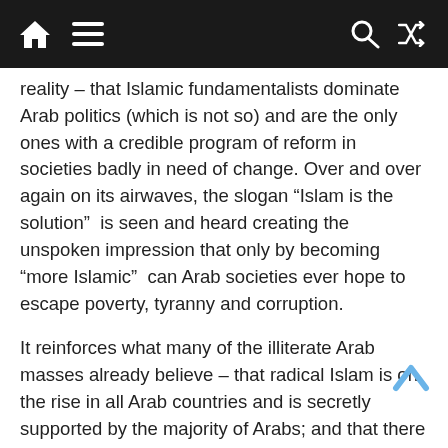Navigation bar with home, menu, search, and shuffle icons
reality – that Islamic fundamentalists dominate Arab politics (which is not so) and are the only ones with a credible program of reform in societies badly in need of change. Over and over again on its airwaves, the slogan “Islam is the solution” is seen and heard creating the unspoken impression that only by becoming “more Islamic” can Arab societies ever hope to escape poverty, tyranny and corruption.
It reinforces what many of the illiterate Arab masses already believe – that radical Islam is on the rise in all Arab countries and is secretly supported by the majority of Arabs; and that there is an implicit struggle being waged between Islam and the Judeo-Christian world. As such, it favors Islamic militants (as opposed to Arab moderates) on its